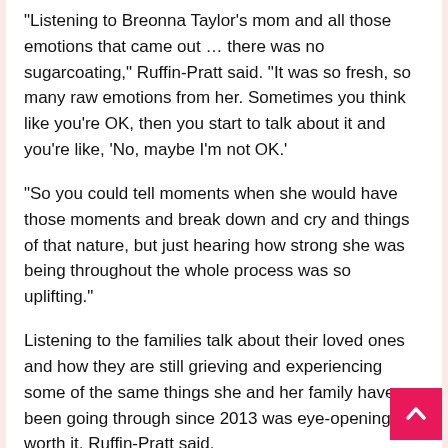“Listening to Breonna Taylor’s mom and all those emotions that came out … there was no sugarcoating,” Ruffin-Pratt said. “It was so fresh, so many raw emotions from her. Sometimes you think like you’re OK, then you start to talk about it and you’re like, ‘No, maybe I’m not OK.’
“So you could tell moments when she would have those moments and break down and cry and things of that nature, but just hearing how strong she was being throughout the whole process was so uplifting.”
Listening to the families talk about their loved ones and how they are still grieving and experiencing some of the same things she and her family have been going through since 2013 was eye-opening, but worth it, Ruffin-Pratt said.